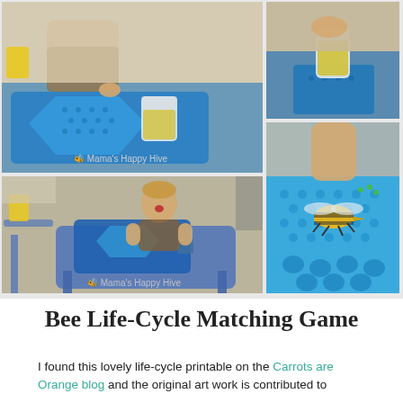[Figure (photo): Photo collage of children playing a bee life-cycle matching game on a blue tray with hexagonal pegboards, a bee figurine, and small pieces. Four photos arranged in a grid: top-left shows a child placing pieces on a blue hexagonal board with a yellow liquid-filled glass jar; top-right shows a close-up of a glass jar on blue mat; bottom-right shows a hand holding a yellow/black bee figurine on a blue honeycomb mat; bottom-left shows a younger child at a small blue table with the game. A watermark reads 'Mama's Happy Hive'.]
Bee Life-Cycle Matching Game
I found this lovely life-cycle printable on the Carrots are Orange blog and the original art work is contributed to